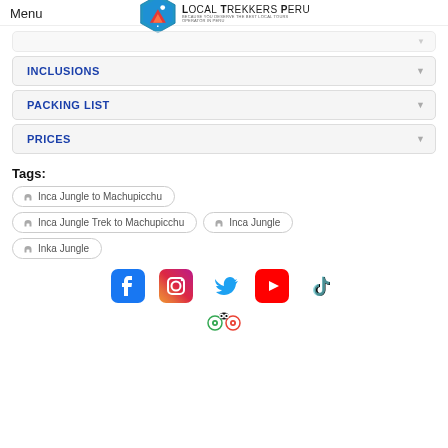Menu | Local Trekkers Peru
INCLUSIONS
PACKING LIST
PRICES
Tags:
Inca Jungle to Machupicchu
Inca Jungle Trek to Machupicchu
Inca Jungle
Inka Jungle
[Figure (logo): Social media icons: Facebook, Instagram, Twitter, YouTube, TikTok, TripAdvisor]